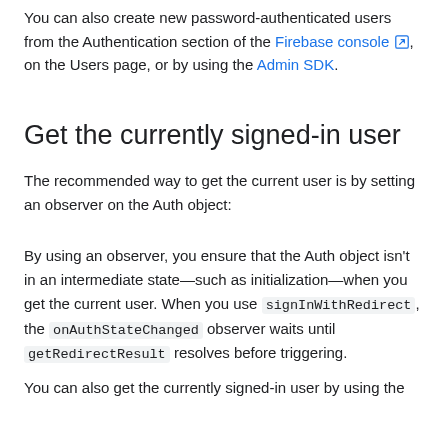You can also create new password-authenticated users from the Authentication section of the Firebase console, on the Users page, or by using the Admin SDK.
Get the currently signed-in user
The recommended way to get the current user is by setting an observer on the Auth object:
By using an observer, you ensure that the Auth object isn't in an intermediate state—such as initialization—when you get the current user. When you use signInWithRedirect, the onAuthStateChanged observer waits until getRedirectResult resolves before triggering.
You can also get the currently signed-in user by using the